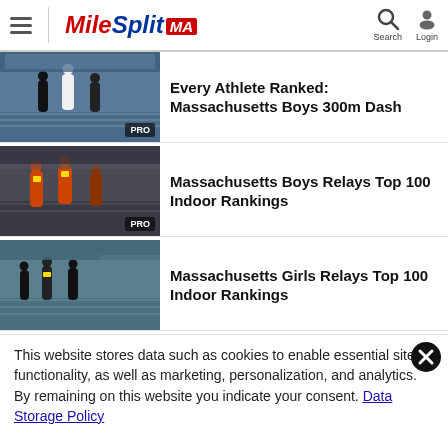MileSplit MA — Search, Login
Every Athlete Ranked: Massachusetts Boys 300m Dash
Massachusetts Boys Relays Top 100 Indoor Rankings
Massachusetts Girls Relays Top 100 Indoor Rankings
This website stores data such as cookies to enable essential site functionality, as well as marketing, personalization, and analytics. By remaining on this website you indicate your consent. Data Storage Policy